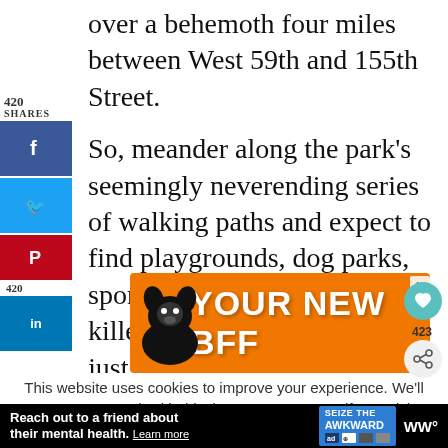over a behemoth four miles between West 59th and 155th Street.
So, meander along the park's seemingly neverending series of walking paths and expect to find playgrounds, dog parks, sports fields, skate parks, and killer views of New Jersey just across the river.
[Figure (infographic): Social share sidebar with Facebook, Twitter, Pinterest, and LinkedIn buttons showing 420 shares count]
[Figure (infographic): Orange advertisement banner with a dog image and text YOUR NEW BFF]
[Figure (infographic): Heart/like button showing 423 and a share button]
This website uses cookies to improve your experience. We'll assume you're ok with this, but you can opt-out if you wish.
[Figure (infographic): Black footer advertisement: Reach out to a friend about their mental health. Learn more. SEIZE THE AWKWARD badge and WW logo]